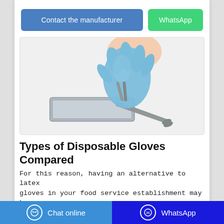Contact the manufacturer | WhatsApp
[Figure (photo): A hand wearing a blue disposable nitrile glove holding metal tongs over a stainless steel medical/food service tray on a white background.]
Types of Disposable Gloves Compared
For this reason, having an alternative to latex gloves in your food service establishment may be
Chat online | WhatsApp